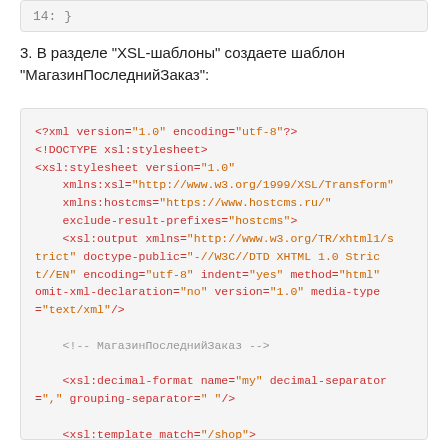14:  }
3. В разделе "XSL-шаблоны" создаете шаблон "МагазинПоследнийЗаказ":
<?xml version="1.0" encoding="utf-8"?>
<!DOCTYPE xsl:stylesheet>
<xsl:stylesheet version="1.0"
    xmlns:xsl="http://www.w3.org/1999/XSL/Transform"
    xmlns:hostcms="https://www.hostcms.ru/"
    exclude-result-prefixes="hostcms">
    <xsl:output xmlns="http://www.w3.org/TR/xhtml1/strict" doctype-public="-//W3C//DTD XHTML 1.0 Strict//EN" encoding="utf-8" indent="yes" method="html" omit-xml-declaration="no" version="1.0" media-type="text/xml"/>

    <!-- МагазинПоследнийЗаказ -->

    <xsl:decimal-format name="my" decimal-separator="," grouping-separator=" "/>

    <xsl:template match="/shop">
        <p class="h1 red">Последний заказ</p>